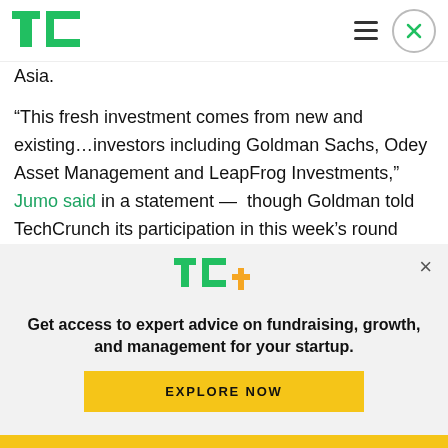TechCrunch logo and navigation
Asia.
“This fresh investment comes from new and existing…investors including Goldman Sachs, Odey Asset Management and LeapFrog Investments,” Jumo said in a statement —  though Goldman told TechCrunch its participation in this week’s round isn’t confirmed.
[Figure (logo): TechCrunch TC+ logo with green TC letters and orange plus sign]
Get access to expert advice on fundraising, growth, and management for your startup.
EXPLORE NOW